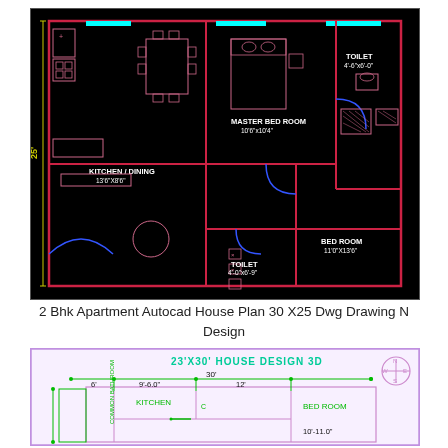[Figure (engineering-diagram): AutoCAD floor plan of a 2BHK apartment on black background showing Kitchen/Dining (13'6"x8'6"), Master Bed Room (10'6"x10'4"), Toilet (4'6"x6'0"), Drawing Room (13'6"x12'0"), Bed Room (11'0"x13'6"), Toilet (4'0"x6'9") with furniture blocks, doors, windows in red/blue/cyan lines. Dimension '25'' shown on left side.]
2 Bhk Apartment Autocad House Plan 30 X25 Dwg Drawing N Design
[Figure (engineering-diagram): AutoCAD house plan titled '23'X30' HOUSE DESIGN 3D' on light purple background with green dimension lines showing 30' width, sections of 6', 9'-6.0", 12' with Kitchen, Bed Room (10'-11.0"), Common Bathroom areas. North compass rose in top right corner.]